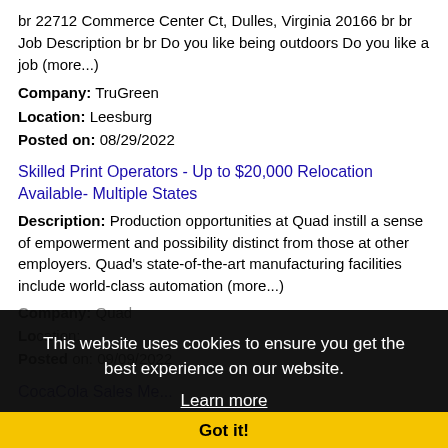br 22712 Commerce Center Ct, Dulles, Virginia 20166 br br Job Description br br Do you like being outdoors Do you like a job (more...)
Company: TruGreen
Location: Leesburg
Posted on: 08/29/2022
Skilled Print Operators - Up to $20,000 Relocation Available- Multiple States
Description: Production opportunities at Quad instill a sense of empowerment and possibility distinct from those at other employers. Quad's state-of-the-art manufacturing facilities include world-class automation (more...)
Company: Quad
Location:
Posted on: 09/09/2022
CocaCola Sales Me...
Description: CocaCola Sales Merchandiser-Coca Cola br The Sales Merchandiser SM is responsible for replenishing, merchandising, and ordering products at all designated accounts. The Sales Merchandiser is
Company: Tier One Alerts : Coca Cola
Location: Leesburg
This website uses cookies to ensure you get the best experience on our website.
Learn more
Got it!